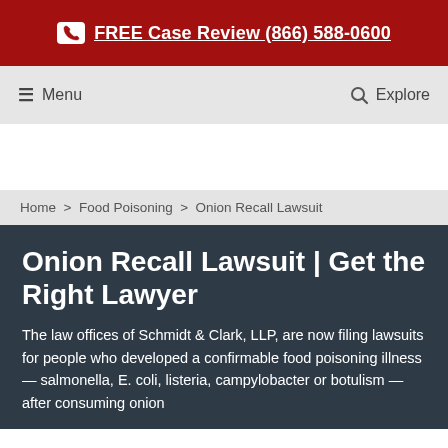FREE Case Review (866) 588-0600
Menu  Explore
Home > Food Poisoning > Onion Recall Lawsuit
Onion Recall Lawsuit | Get the Right Lawyer
The law offices of Schmidt & Clark, LLP, are now filing lawsuits for people who developed a confirmable food poisoning illness — salmonella, E. coli, listeria, campylobacter or botulism — after consuming onion